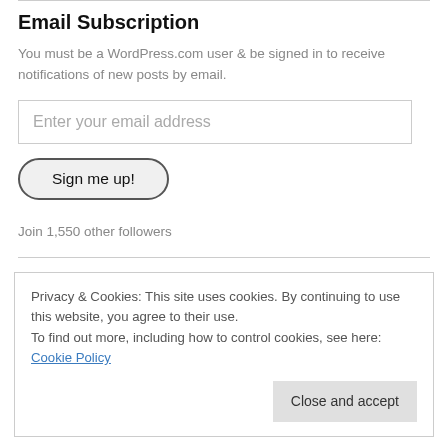Email Subscription
You must be a WordPress.com user & be signed in to receive notifications of new posts by email.
Enter your email address
Sign me up!
Join 1,550 other followers
Privacy & Cookies: This site uses cookies. By continuing to use this website, you agree to their use. To find out more, including how to control cookies, see here: Cookie Policy
Close and accept